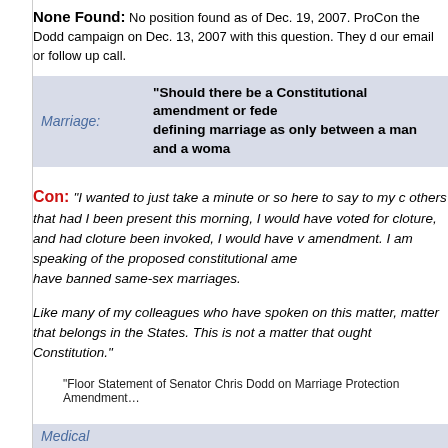None Found: No position found as of Dec. 19, 2007. ProCon contacted the Dodd campaign on Dec. 13, 2007 with this question. They did not return our email or follow up call.
| Topic | Question |
| --- | --- |
| Marriage: | "Should there be a Constitutional amendment or federal law defining marriage as only between a man and a woman?" |
Con: "I wanted to just take a minute or so here to say to my colleagues and others that had I been present this morning, I would have voted for cloture, and had cloture been invoked, I would have voted against the amendment. I am speaking of the proposed constitutional amendment that would have banned same-sex marriages.

Like many of my colleagues who have spoken on this matter, I believe this is a matter that belongs in the States. This is not a matter that ought to be in our Constitution."
"Floor Statement of Senator Chris Dodd on Marriage Protection Amendment..."
| Topic |
| --- |
| Medical |